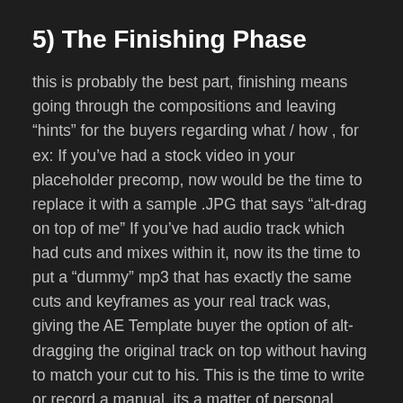5) The Finishing Phase
this is probably the best part, finishing means going through the compositions and leaving “hints” for the buyers regarding what / how , for ex: If you’ve had a stock video in your placeholder precomp, now would be the time to replace it with a sample .JPG that says “alt-drag on top of me” If you’ve had audio track which had cuts and mixes within it, now its the time to put a “dummy” mp3 that has exactly the same cuts and keyframes as your real track was, giving the AE Template buyer the option of alt-dragging the original track on top without having to match your cut to his. This is the time to write or record a manual, its a matter of personal taste, some prefer to record a video